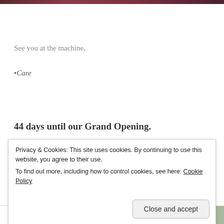[Figure (photo): Top cropped photo strip, dark reddish/brown tones]
See you at the machine,
•Care
44 days until our Grand Opening.
Privacy & Cookies: This site uses cookies. By continuing to use this website, you agree to their use.
To find out more, including how to control cookies, see here: Cookie Policy
Close and accept